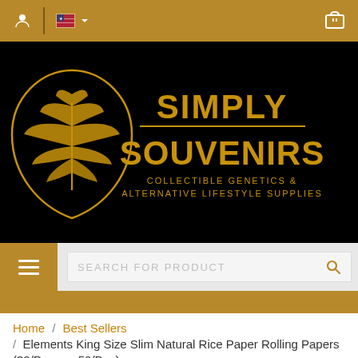[Figure (logo): Simply Souvenirs logo with cannabis leaf inside a teardrop shape in gold on black background. Text reads SIMPLY SOUVENIRS - COLLECTIBLE GENETICS & ALTERNATIVE LIFESTYLE SUPPLIES]
Navigation bar with hamburger menu and search field: SEARCH FOR PRODUCT
Home / Best Sellers / Elements King Size Slim Natural Rice Paper Rolling Papers (32/Papers, 50/Box)